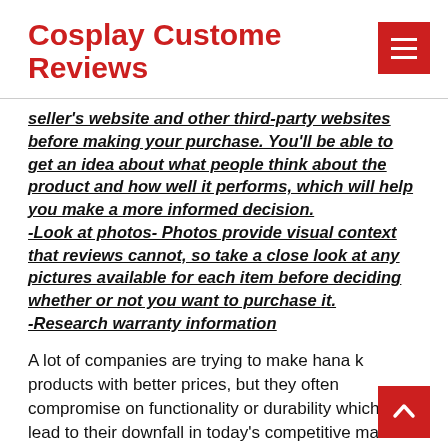Cosplay Custome Reviews
seller's website and other third-party websites before making your purchase. You'll be able to get an idea about what people think about the product and how well it performs, which will help you make a more informed decision.
-Look at photos- Photos provide visual context that reviews cannot, so take a close look at any pictures available for each item before deciding whether or not you want to purchase it.
-Research warranty information
A lot of companies are trying to make hana k products with better prices, but they often compromise on functionality or durability which can lead to their downfall in today's competitive market where customer